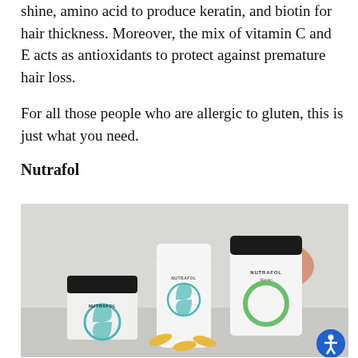shine, amino acid to produce keratin, and biotin for hair thickness. Moreover, the mix of vitamin C and E acts as antioxidants to protect against premature hair loss.
For all those people who are allergic to gluten, this is just what you need.
Nutrafol
[Figure (photo): Three Nutrafol supplement bottles on a light surface — one black-capped jar with a teal yin-yang logo, one white bottle with a teal logo (NUTRAFOL), and one white jar with a green circular logo held by a hand. Several yellow capsules are visible in the foreground.]